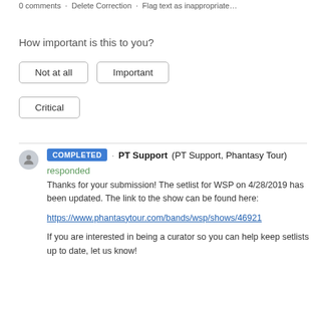0 comments · Delete Correction · Flag text as inappropriate…
How important is this to you?
Not at all
Important
Critical
COMPLETED · PT Support (PT Support, Phantasy Tour) responded

Thanks for your submission! The setlist for WSP on 4/28/2019 has been updated. The link to the show can be found here:

https://www.phantasytour.com/bands/wsp/shows/46921

If you are interested in being a curator so you can help keep setlists up to date, let us know!